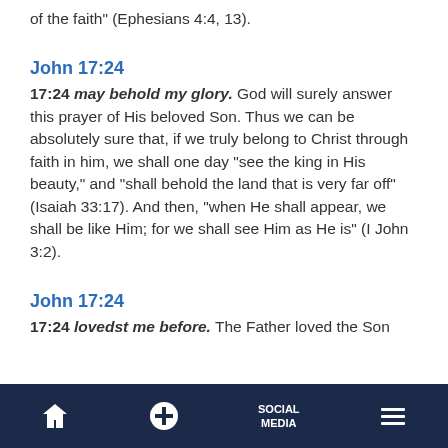of the faith” (Ephesians 4:4, 13).
John 17:24
17:24 may behold my glory. God will surely answer this prayer of His beloved Son. Thus we can be absolutely sure that, if we truly belong to Christ through faith in him, we shall one day “see the king in His beauty,” and “shall behold the land that is very far off” (Isaiah 33:17). And then, “when He shall appear, we shall be like Him; for we shall see Him as He is” (I John 3:2).
John 17:24
17:24 lovedst me before. The Father loved the Son before the creation...
Home | + | SOCIAL MEDIA | Menu